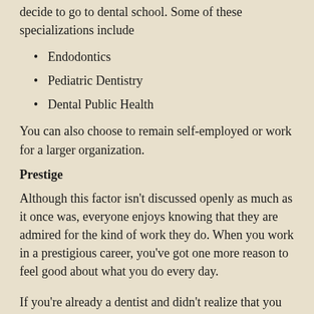decide to go to dental school. Some of these specializations include
Endodontics
Pediatric Dentistry
Dental Public Health
You can also choose to remain self-employed or work for a larger organization.
Prestige
Although this factor isn't discussed openly as much as it once was, everyone enjoys knowing that they are admired for the kind of work they do. When you work in a prestigious career, you've got one more reason to feel good about what you do every day.
If you're already a dentist and didn't realize that you can sell dental scraps for refining, talk to a company that offers dental scrap refining. Some of the precious metals that you might find in dental scraps include gold, silver, platinum and